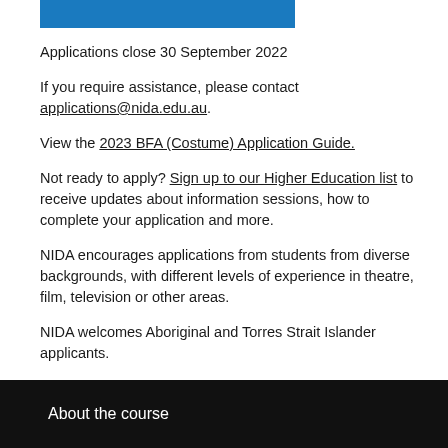[Figure (other): Blue horizontal banner/bar at top of page]
Applications close 30 September 2022
If you require assistance, please contact applications@nida.edu.au.
View the 2023 BFA (Costume) Application Guide.
Not ready to apply? Sign up to our Higher Education list to receive updates about information sessions, how to complete your application and more.
NIDA encourages applications from students from diverse backgrounds, with different levels of experience in theatre, film, television or other areas.
NIDA welcomes Aboriginal and Torres Strait Islander applicants.
About the course